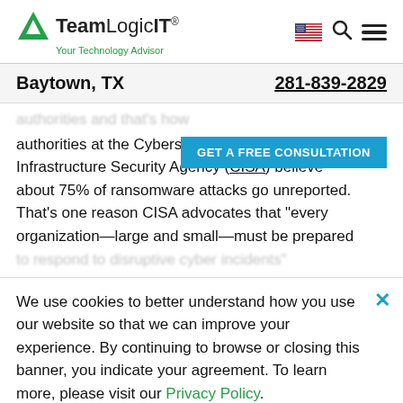[Figure (logo): TeamLogic IT logo with green triangle icon and tagline 'Your Technology Advisor']
Baytown, TX   281-839-2829
authorities at the Cyberse... Infrastructure Security Agency (CISA) believe about 75% of ransomware attacks go unreported. That's one reason CISA advocates that "every organization—large and small—must be prepared to respond to disruptive cyber incidents"
GET A FREE CONSULTATION
We use cookies to better understand how you use our website so that we can improve your experience. By continuing to browse or closing this banner, you indicate your agreement. To learn more, please visit our Privacy Policy.